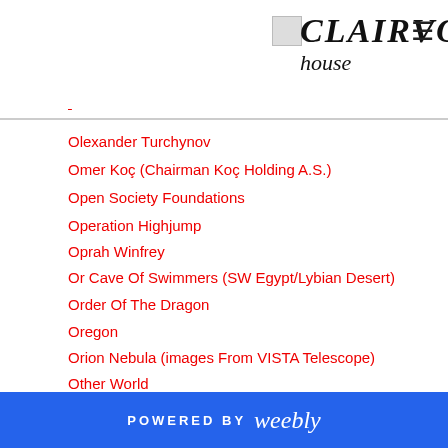CLAIRVOYANT HOUSE
Olexander Turchynov
Omer Koç (Chairman Koç Holding A.S.)
Open Society Foundations
Operation Highjump
Oprah Winfrey
Or Cave Of Swimmers (SW Egypt/Lybian Desert)
Order Of The Dragon
Oregon
Orion Nebula (images From VISTA Telescope)
Other World
Our Lady Of Fatima
Oxitec's CEO Hadyn Parry
Oyabun
Palantir Technologies)
POWERED BY weebly